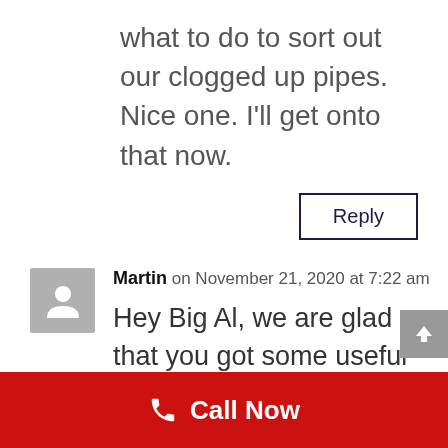what to do to sort out our clogged up pipes. Nice one. I'll get onto that now.
Reply
Martin on November 21, 2020 at 7:22 am
Hey Big Al, we are glad that you got some useful information on how to clear your blocked drain and pipes. You can now join the band of
Call Now